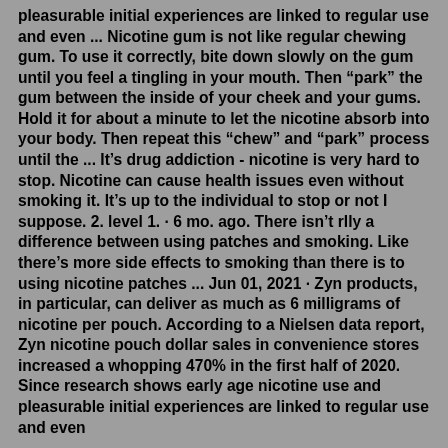pleasurable initial experiences are linked to regular use and even ... Nicotine gum is not like regular chewing gum. To use it correctly, bite down slowly on the gum until you feel a tingling in your mouth. Then “park” the gum between the inside of your cheek and your gums. Hold it for about a minute to let the nicotine absorb into your body. Then repeat this “chew” and “park” process until the ... It’s drug addiction - nicotine is very hard to stop. Nicotine can cause health issues even without smoking it. It’s up to the individual to stop or not I suppose. 2. level 1. · 6 mo. ago. There isn’t rlly a difference between using patches and smoking. Like there’s more side effects to smoking than there is to using nicotine patches ... Jun 01, 2021 · Zyn products, in particular, can deliver as much as 6 milligrams of nicotine per pouch. According to a Nielsen data report, Zyn nicotine pouch dollar sales in convenience stores increased a whopping 470% in the first half of 2020. Since research shows early age nicotine use and pleasurable initial experiences are linked to regular use and even